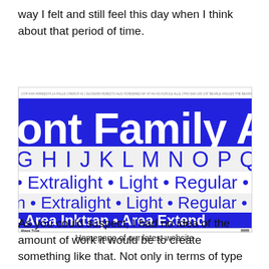way I felt and still feel this day when I think about that period of time.
[Figure (screenshot): Screenshot of a website homepage for 'Blaze Type' showing a font family called 'Area'. The image displays bold blue and white typographic banners: a blue banner showing 'ont Family Area' in white sans-serif, a white band showing 'G H I J K L M N O P Q R S T U V' in blue, a white band showing '• Extralight • Light • Regular •' in blue, a white band showing 'n • Extralight • Light • Regular •' in blue, and a blue banner showing '• Area Inktrap • Area Extend'. The Blaze Type logo appears at the bottom left.]
Homepage of our latest website
As you could suspect, I had no idea of the amount of work it would be to create something like that. Not only in terms of type design but the whole question of